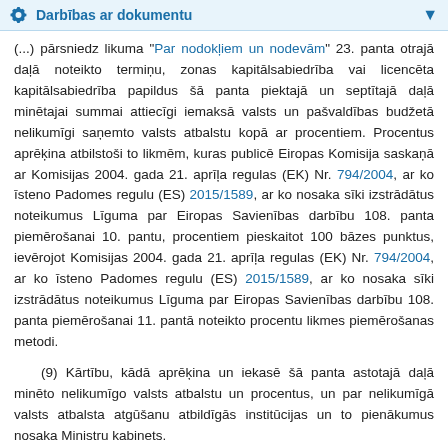Darbības ar dokumentu
(...) pārsniedz likuma "Par nodokļiem un nodevām" 23. panta otrajā daļā noteikto termiņu, zonas kapitālsabiedrība vai licencēta kapitālsabiedrība papildus šā panta piektajā un septītajā daļā minētajai summai attiecīgi iemaksā valsts un pašvaldības budžetā nelikumīgi saņemto valsts atbalstu kopā ar procentiem. Procentus aprēķina atbilstoši to likmēm, kuras publicē Eiropas Komisija saskaņā ar Komisijas 2004. gada 21. aprīļa regulas (EK) Nr. 794/2004, ar ko īsteno Padomes regulu (ES) 2015/1589, ar ko nosaka sīki izstrādātus noteikumus Līguma par Eiropas Savienības darbību 108. panta piemērošanai 10. pantu, procentiem pieskaitot 100 bāzes punktus, ievērojot Komisijas 2004. gada 21. aprīļa regulas (EK) Nr. 794/2004, ar ko īsteno Padomes regulu (ES) 2015/1589, ar ko nosaka sīki izstrādātus noteikumus Līguma par Eiropas Savienības darbību 108. panta piemērošanai 11. pantā noteikto procentu likmes piemērošanas metodi.
(9) Kārtību, kādā aprēķina un iekasē šā panta astotajā daļā minēto nelikumīgo valsts atbalstu un procentus, un par nelikumīgā valsts atbalsta atgūšanu atbildīgās institūcijas un to pienākumus nosaka Ministru kabinets.
(Ar grozījumiem, kas izdarīti ar 22.05.2003., 31.03.2004., 18.12.2006.